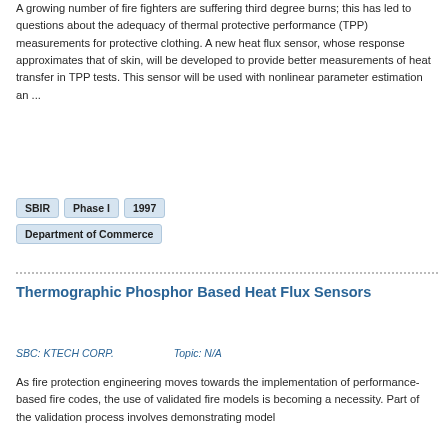A growing number of fire fighters are suffering third degree burns; this has led to questions about the adequacy of thermal protective performance (TPP) measurements for protective clothing. A new heat flux sensor, whose response approximates that of skin, will be developed to provide better measurements of heat transfer in TPP tests. This sensor will be used with nonlinear parameter estimation an ...
SBIR
Phase I
1997
Department of Commerce
Thermographic Phosphor Based Heat Flux Sensors
SBC: KTECH CORP.     Topic: N/A
As fire protection engineering moves towards the implementation of performance- based fire codes, the use of validated fire models is becoming a necessity. Part of the validation process involves demonstrating model